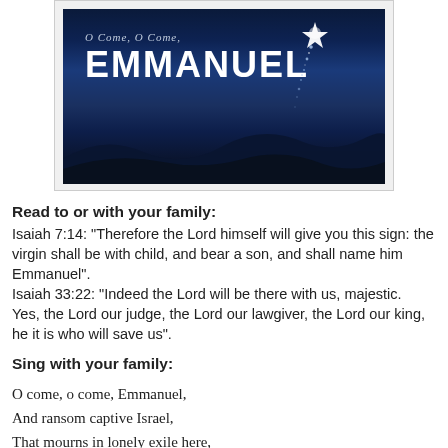[Figure (illustration): Dark blue night sky image with text 'O Come, O Come,' in italic and 'EMMANUEL' in large bold white letters, with a bright star and sparkle trail in the upper right, and rolling dark blue sand dunes silhouette at the bottom.]
Read to or with your family:
Isaiah 7:14: "Therefore the Lord himself will give you this sign: the virgin shall be with child, and bear a son, and shall name him Emmanuel".
Isaiah 33:22: "Indeed the Lord will be there with us, majestic.  Yes, the Lord our judge, the Lord our lawgiver, the Lord our king, he it is who will save us".
Sing with your family:
O come, o come, Emmanuel,
And ransom captive Israel,
That mourns in lonely exile here,